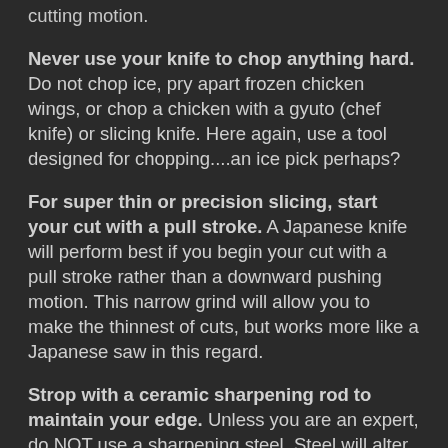cutting motion.
Never use your knife to chop anything hard. Do not chop ice, pry apart frozen chicken wings, or chop a chicken with a gyuto (chef knife) or slicing knife. Here again, use a tool designed for chopping....an ice pick perhaps?
For super thin or precision slicing, start your cut with a pull stroke. A Japanese knife will perform best if you begin your cut with a pull stroke rather than a downward pushing motion. This narrow grind will allow you to make the thinnest of cuts, but works more like a Japanese saw in this regard.
Strop with a ceramic sharpening rod to maintain your edge. Unless you are an expert, do NOT use a sharpening steel. Steel will alter your grind angle and if you don't know what you are